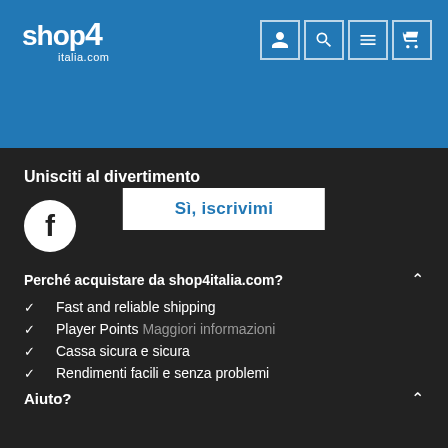shop4italia.com
[Figure (logo): shop4italia.com logo in white on blue background]
[Figure (other): Navigation icons: user, search, menu, cart on blue background]
Sì, iscrivimi
Unisciti al divertimento
[Figure (logo): Facebook icon - white circle with facebook 'f' symbol on dark background]
Perché acquistare da shop4italia.com?
Fast and reliable shipping
Player Points Maggiori informazioni
Cassa sicura e sicura
Rendimenti facili e senza problemi
Aiuto?